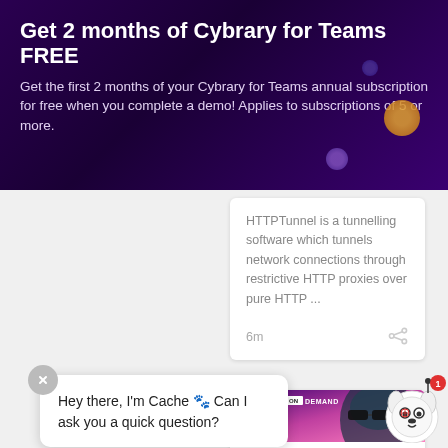Get 2 months of Cybrary for Teams FREE
Get the first 2 months of your Cybrary for Teams annual subscription for free when you complete a demo! Applies to subscriptions of 5 or more.
HTTPTunnel is a tunnelling software which tunnels network connections through restrictive HTTP proxies over pure HTTP ...
6m
[Figure (screenshot): Cybrary On Demand course thumbnail showing a person wearing sunglasses with text INTRO TO overlaid, and COURSE label at bottom]
Hey there, I'm Cache 🐾 Can I ask you a quick question?
COURSE